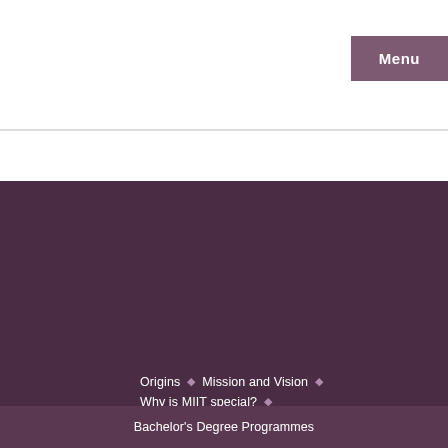Menu
About MIIT
Origins
Mission and Vision
Why is MIIT special?
Governing Council
Senate
Milestones
Collaborations
News
Media
Announcements
Frequently Asked Questions (FAQs)
Bachelor's Degree Programmes